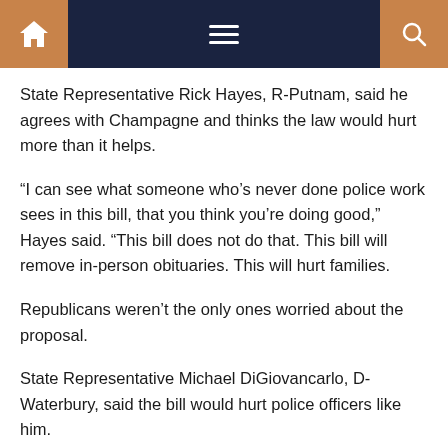Navigation bar with home, menu, and search icons
State Representative Rick Hayes, R-Putnam, said he agrees with Champagne and thinks the law would hurt more than it helps.
“I can see what someone who’s never done police work sees in this bill, that you think you’re doing good,” Hayes said. “This bill does not do that. This bill will remove in-person obituaries. This will hurt families.
Republicans weren’t the only ones worried about the proposal.
State Representative Michael DiGiovancarlo, D-Waterbury, said the bill would hurt police officers like him.
Five things you need to know